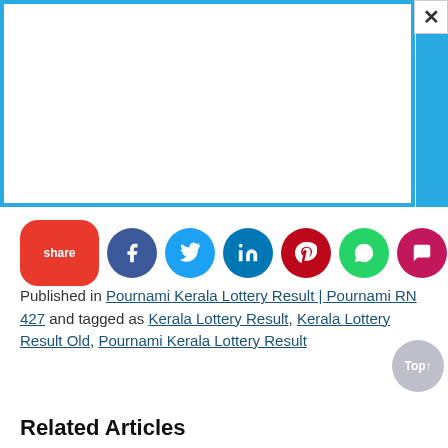[Figure (screenshot): Advertisement box with blue border and close button (×) at top right, with blue vertical bar on right side]
[Figure (infographic): Social share bar with share button and icons: Facebook, Twitter, LinkedIn, Pinterest, WhatsApp, Chat, Email]
Published in Pournami Kerala Lottery Result | Pournami RN 427 and tagged as Kerala Lottery Result, Kerala Lottery Result Old, Pournami Kerala Lottery Result
Related Articles